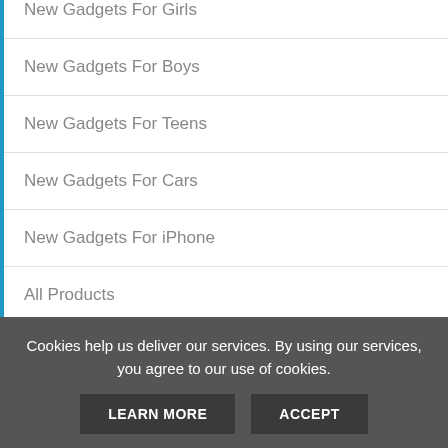New Gadgets For Girls
New Gadgets For Boys
New Gadgets For Teens
New Gadgets For Cars
New Gadgets For iPhone
All Products
[Figure (logo): Protected 100% Secure badge/seal with dark blue semicircle and stars]
Cookies help us deliver our services. By using our services, you agree to our use of cookies.
LEARN MORE    ACCEPT